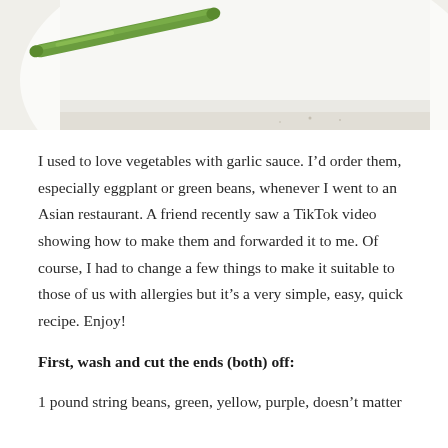[Figure (photo): Close-up photo of a green bean (string bean) on a white surface/plate]
I used to love vegetables with garlic sauce. I’d order them, especially eggplant or green beans, whenever I went to an Asian restaurant. A friend recently saw a TikTok video showing how to make them and forwarded it to me. Of course, I had to change a few things to make it suitable to those of us with allergies but it’s a very simple, easy, quick recipe. Enjoy!
First, wash and cut the ends (both) off:
1 pound string beans, green, yellow, purple, doesn’t matter